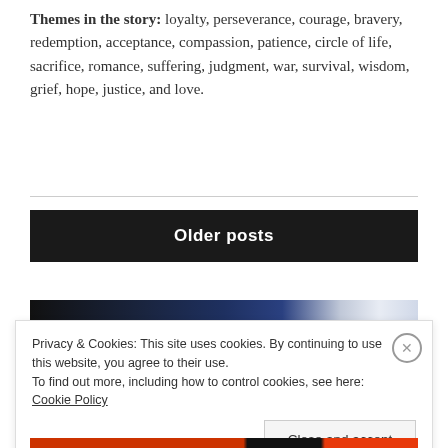Themes in the story: loyalty, perseverance, courage, bravery, redemption, acceptance, compassion, patience, circle of life, sacrifice, romance, suffering, judgment, war, survival, wisdom, grief, hope, justice, and love.
Older posts
[Figure (photo): Partial photo strip showing dark and blue-toned imagery]
Privacy & Cookies: This site uses cookies. By continuing to use this website, you agree to their use.
To find out more, including how to control cookies, see here: Cookie Policy
Close and accept